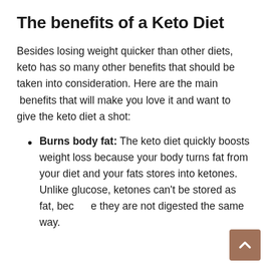The benefits of a Keto Diet
Besides losing weight quicker than other diets, keto has so many other benefits that should be taken into consideration. Here are the main  benefits that will make you love it and want to give the keto diet a shot:
Burns body fat: The keto diet quickly boosts weight loss because your body turns fat from your diet and your fats stores into ketones. Unlike glucose, ketones can't be stored as fat, because they are not digested the same way.